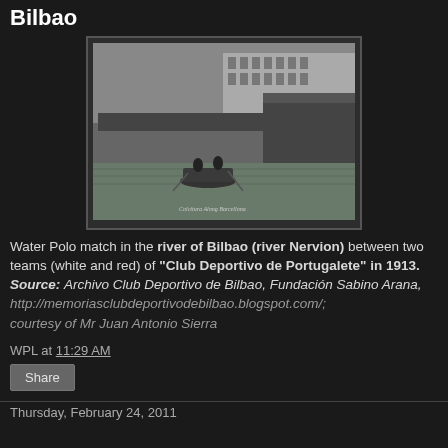Bilbao
[Figure (photo): Historical black and white photograph of a Water Polo match in the river of Bilbao (river Nervion), showing boats on the water with crowds on the riverbank and buildings in the background, 1913.]
Water Polo match in the river of Bilbao (river Nervion) between two teams (white and red) of "Club Deportivo de Portugalete" in 1913. Source: Archivo Club Deportivo de Bilbao, Fundación Sabino Arana, http://memoriasclubdeportivodebilbao.blogspot.com/; courtesy of Mr Juan Antonio Sierra
WPL at 11:29 AM
Share
Thursday, February 24, 2011